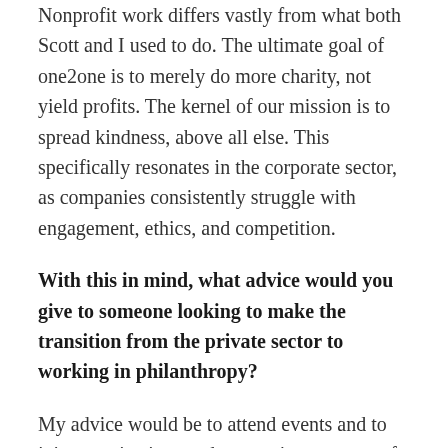Nonprofit work differs vastly from what both Scott and I used to do. The ultimate goal of one2one is to merely do more charity, not yield profits. The kernel of our mission is to spread kindness, above all else. This specifically resonates in the corporate sector, as companies consistently struggle with engagement, ethics, and competition.
With this in mind, what advice would you give to someone looking to make the transition from the private sector to working in philanthropy?
My advice would be to attend events and to join organizations and groups in your area of interest. Network with people and try to join a nonprofit board to learn more about the inner workings of philanthropy. In addition, for me, using the incredibly widespread and diverse Penn network has been